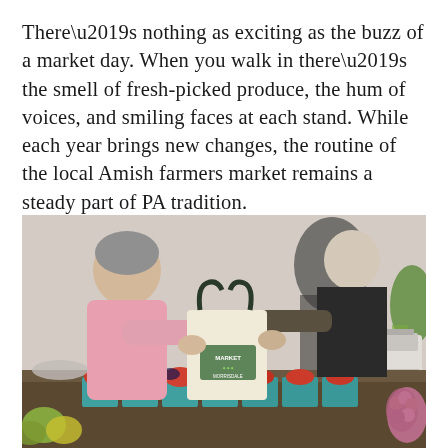There’s nothing as exciting as the buzz of a market day. When you walk in there’s the smell of fresh-picked produce, the hum of voices, and smiling faces at each stand. While each year brings new changes, the routine of the local Amish farmers market remains a steady part of PA tradition.
[Figure (photo): An older woman in a pink sweater receives a canvas tote bag (with a market logo) from a vendor across a market counter. In the foreground are trays and baskets of strawberries and other fresh produce. A scale is visible on the counter to the right. The scene is an indoor farmers market.]